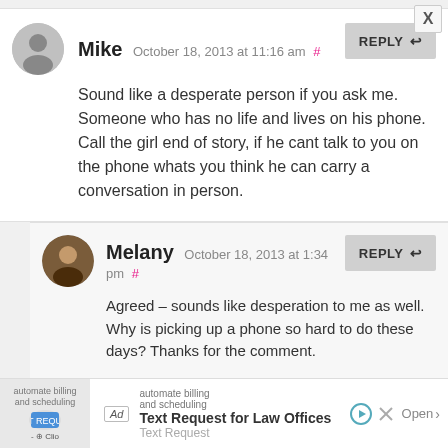Mike October 18, 2013 at 11:16 am #
Sound like a desperate person if you ask me. Someone who has no life and lives on his phone. Call the girl end of story, if he cant talk to you on the phone whats you think he can carry a conversation in person.
Melany October 18, 2013 at 1:34 pm #
Agreed – sounds like desperation to me as well. Why is picking up a phone so hard to do these days? Thanks for the comment.
Ana Lydia Ochoa-Monaco October 18, 20...
Ad Text Request for Law Offices - Text Request Open